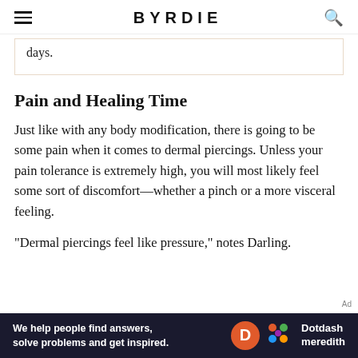BYRDIE
days.
Pain and Healing Time
Just like with any body modification, there is going to be some pain when it comes to dermal piercings. Unless your pain tolerance is extremely high, you will most likely feel some sort of discomfort—whether a pinch or a more visceral feeling.
"Dermal piercings feel like pressure," notes Darling.
[Figure (other): Dotdash Meredith advertisement banner with text 'We help people find answers, solve problems and get inspired.' with Dotdash Meredith logo]